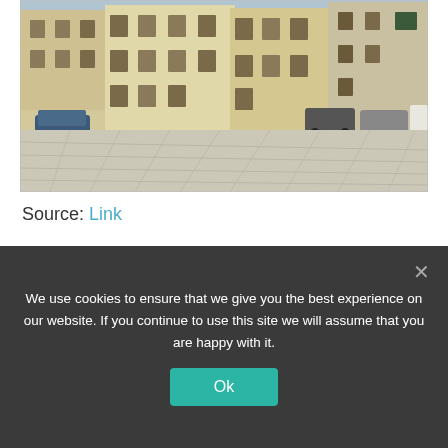[Figure (photo): Photograph of an Italian town square with old multi-story buildings in cream/yellow tones, parked cars along the sides, and a large stone-paved piazza in the foreground under bright daylight.]
Source: Link
If you’re looking for a place to shop for very
We use cookies to ensure that we give you the best experience on our website. If you continue to use this site we will assume that you are happy with it.